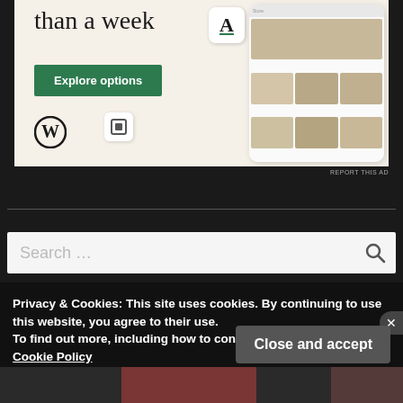[Figure (screenshot): WordPress.com advertisement banner showing 'than a week' heading, green 'Explore options' button, WordPress logo, and mobile app mockup with food photography]
REPORT THIS AD
Search ...
Privacy & Cookies: This site uses cookies. By continuing to use this website, you agree to their use.
To find out more, including how to control cookies, see here:
Cookie Policy
Close and accept